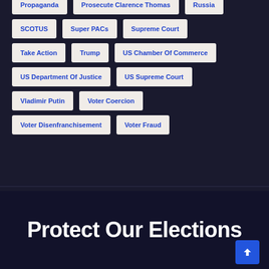Propaganda
Prosecute Clarence Thomas
Russia
SCOTUS
Super PACs
Supreme Court
Take Action
Trump
US Chamber Of Commerce
US Department Of Justice
US Supreme Court
Vladimir Putin
Voter Coercion
Voter Disenfranchisement
Voter Fraud
Protect Our Elections